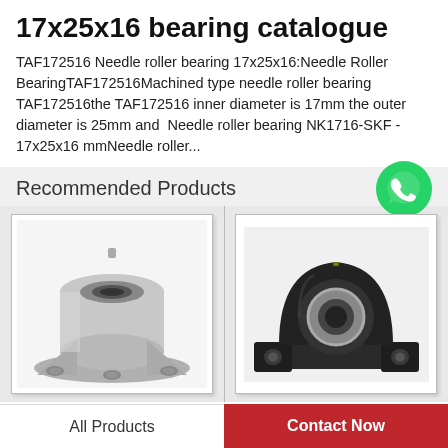17x25x16 bearing catalogue
TAF172516 Needle roller bearing 17x25x16:Needle Roller BearingTAF172516Machined type needle roller bearing TAF172516the TAF172516 inner diameter is 17mm the outer diameter is 25mm and  Needle roller bearing NK1716-SKF - 17x25x16 mmNeedle roller...
Recommended Products
[Figure (photo): Silver/metallic pillow block bearing with flange mount and circular bore, three mounting holes visible, top-down angled view]
[Figure (photo): Black plastic/cast iron pillow block bearing housing with two mounting flanges and circular bore with metal insert]
[Figure (logo): WhatsApp green phone icon with text 'WhatsApp Online']
All Products | Contact Now